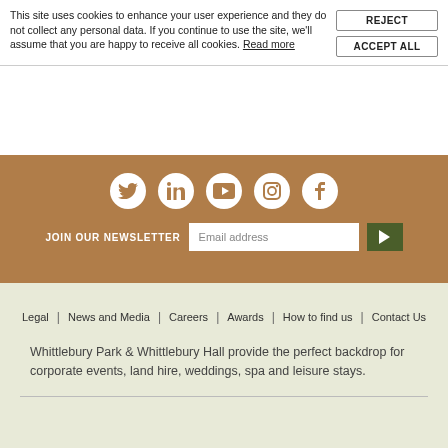This site uses cookies to enhance your user experience and they do not collect any personal data. If you continue to use the site, we'll assume that you are happy to receive all cookies. Read more
[Figure (screenshot): Social media icons row: Twitter, LinkedIn, YouTube, Instagram, Facebook — white circles on brown background]
JOIN OUR NEWSLETTER
Email address
Legal | News and Media | Careers | Awards | How to find us | Contact Us
Whittlebury Park & Whittlebury Hall provide the perfect backdrop for corporate events, land hire, weddings, spa and leisure stays.
[Figure (photo): Thumbnail with three red rose icons on white background]
[Figure (photo): Blank thumbnail placeholder]
[Figure (photo): Blank thumbnail placeholder]